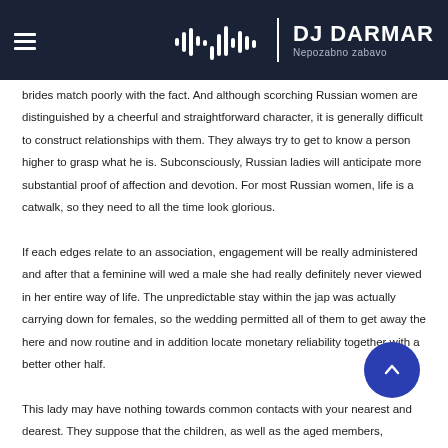DJ DARMAR — Nepozabno zabavo
brides match poorly with the fact. And although scorching Russian women are distinguished by a cheerful and straightforward character, it is generally difficult to construct relationships with them. They always try to get to know a person higher to grasp what he is. Subconsciously, Russian ladies will anticipate more substantial proof of affection and devotion. For most Russian women, life is a catwalk, so they need to all the time look glorious.

If each edges relate to an association, engagement will be really administered and after that a feminine will wed a male she had really definitely never viewed in her entire way of life. The unpredictable stay within the jap was actually carrying down for females, so the wedding permitted all of them to get away the here and now routine and in addition locate monetary reliability together with a better other half.

This lady may have nothing towards common contacts with your nearest and dearest. They suppose that the children, as well as the aged members, deserve particular attention, care in regards to the family, and always ready to help the closest and dearest in need. Russian brides rarely blame their husbands for